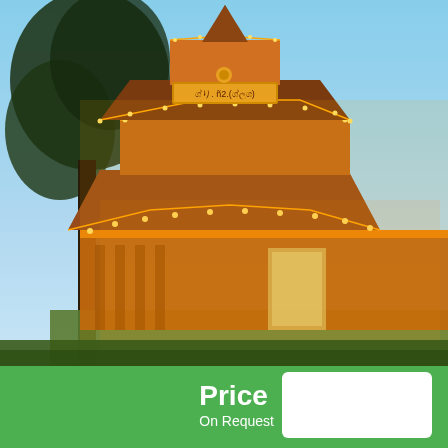[Figure (photo): A Kerala Hindu temple illuminated with golden string lights at dusk. The multi-tiered wooden temple structure with intricate carvings is decorated with warm yellow fairy lights outlining its rooflines and eaves. A large tree is visible on the left side, and the sky is blue. A sign in Malayalam script hangs above the entrance door.]
Price
On Request